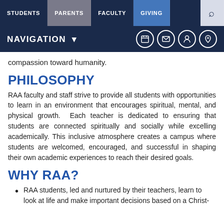STUDENTS | PARENTS | FACULTY | GIVING | [search]
NAVIGATION ▾ [calendar] [mail] [user] [location]
compassion toward humanity.
PHILOSOPHY
RAA faculty and staff strive to provide all students with opportunities to learn in an environment that encourages spiritual, mental, and physical growth.  Each teacher is dedicated to ensuring that students are connected spiritually and socially while excelling academically. This inclusive atmosphere creates a campus where students are welcomed, encouraged, and successful in shaping their own academic experiences to reach their desired goals.
WHY RAA?
RAA students, led and nurtured by their teachers, learn to look at life and make important decisions based on a Christ-